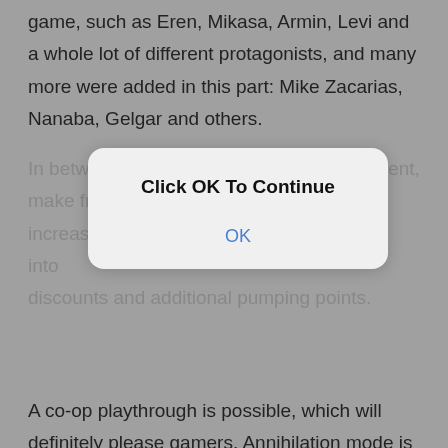game, such as Eren, Mikasa, Armin, Levi and a whole lot of different protagonists, and many more were added in this part: Mike Zacarias, Nanaba, Gelgar and others.
In between missions, improve your equipment, make friends with NPCs in the safe city to increase loyalty to you, which will translate into discounts and additional pumping points.
[Figure (screenshot): A modal dialog box with white/light gray background and rounded corners overlaying the page content. The dialog contains the bold text 'Click OK To Continue' and a blue 'OK' button/link below it.]
A co-op playthrough is possible, which will definitely please gamers. Annihilation mode is also present, where two teams of 4 people must kill titans to earn points and thwart opponents